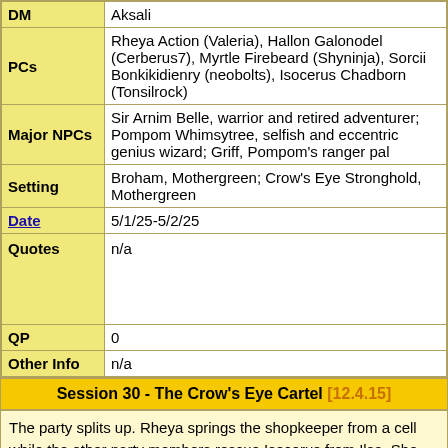| Label | Value |
| --- | --- |
| DM | Aksali |
| PCs | Rheya Action (Valeria), Hallon Galonodel (Cerberus7), Myrtle Firebeard (Shyninja), Sorcii Bonkikidienry (neobolts), Isocerus Chadborn (Tonsilrock) |
| Major NPCs | Sir Arnim Belle, warrior and retired adventurer; Pompom Whimsytree, selfish and eccentric genius wizard; Griff, Pompom's ranger pal |
| Setting | Broham, Mothergreen; Crow's Eye Stronghold, Mothergreen |
| Date | 5/1/25-5/2/25 |
| Quotes | n/a |
| QP | 0 |
| Other Info | n/a |
Session 30 - The Crow's Eye Cartel [12.4.15]
The party splits up. Rheya springs the shopkeeper from a cell while the other party members rescue Isocerus from Ilsa, She-Wolf of the Crow's Eye. She was intending to torture Isocerus to extract information, but he is so willing to sell out his closest friends that the interrogation is effortless. Among Isocerus' blunders is stating that he "Dodged that bullet." in reference to past relationships while Myrtle was invisible and present in the